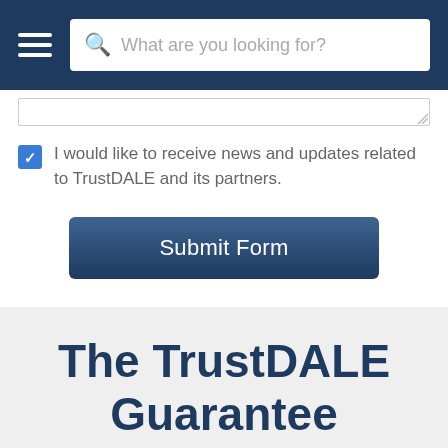What are you looking for?
[Figure (screenshot): Partially visible textarea input at top of form]
I would like to receive news and updates related to TrustDALE and its partners.
Submit Form
The TrustDALE Guarantee
[Figure (photo): Partially visible image at bottom of page, appears to be a blue sky or water scene]